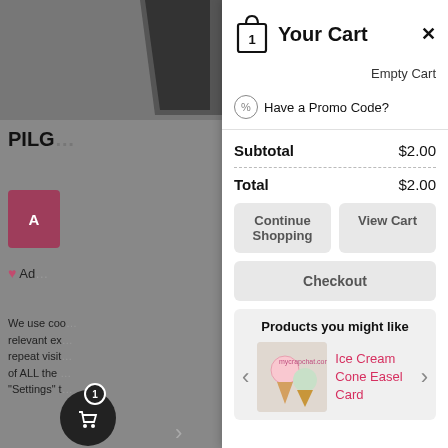[Figure (screenshot): Background webpage showing partially visible product page with hat image, PILG text, Add to Cart button, wishlist link, cookie notice text, and shopping cart badge button]
Your Cart
Empty Cart
Have a Promo Code?
|  |  |
| --- | --- |
| Subtotal | $2.00 |
| Total | $2.00 |
Continue Shopping
View Cart
Checkout
Products you might like
Ice Cream Cone Easel Card